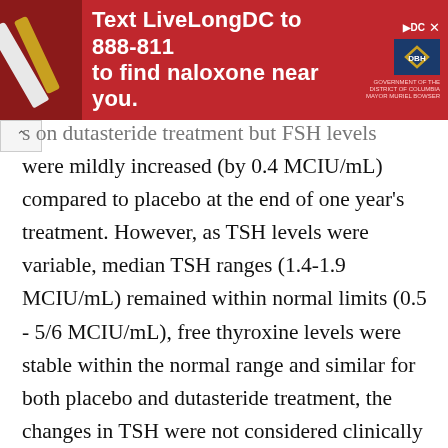[Figure (other): Advertisement banner with red background: 'Text LiveLongDC to 888-811 to find naloxone near you.' with DC and DHH logos.]
s on dutasteride treatment but FSH levels were mildly increased (by 0.4 MCIU/mL) compared to placebo at the end of one year's treatment. However, as TSH levels were variable, median TSH ranges (1.4-1.9 MCIU/mL) remained within normal limits (0.5 - 5/6 MCIU/mL), free thyroxine levels were stable within the normal range and similar for both placebo and dutasteride treatment, the changes in TSH were not considered clinically significant. In all the clinical studies, there has been no evidence that dutasteride adversely affects thyroid function.
Breast neoplasia
In the 2 year clinical trials, providing 3374 patient